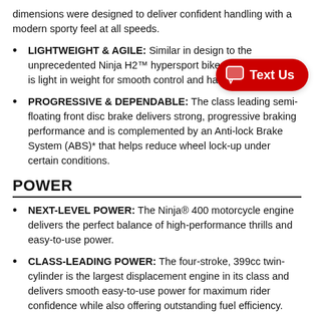dimensions were designed to deliver confident handling with a modern sporty feel at all speeds.
LIGHTWEIGHT & AGILE: Similar in design to the unprecedented Ninja H2™ hypersport bike, the trellis frame is light in weight for smooth control and handling.
PROGRESSIVE & DEPENDABLE: The class leading semi-floating front disc brake delivers strong, progressive braking performance and is complemented by an Anti-lock Brake System (ABS)* that helps reduce wheel lock-up under certain conditions.
POWER
NEXT-LEVEL POWER: The Ninja® 400 motorcycle engine delivers the perfect balance of high-performance thrills and easy-to-use power.
CLASS-LEADING POWER: The four-stroke, 399cc twin-cylinder is the largest displacement engine in its class and delivers smooth easy-to-use power for maximum rider confidence while also offering outstanding fuel efficiency.
ASSIST & SLIPPER TECHNOLOGY: The assist function...